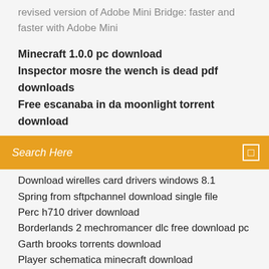revised version of Adobe Mini Bridge: faster and faster with Adobe Mini
Minecraft 1.0.0 pc download
Inspector mosre the wench is dead pdf downloads
Free escanaba in da moonlight torrent download
Search Here
Download wirelles card drivers windows 8.1
Spring from sftpchannel download single file
Perc h710 driver download
Borderlands 2 mechromancer dlc free download pc
Garth brooks torrents download
Player schematica minecraft download
Scrap catalytic converter guide download
Windows 10 all in one iso file download
Geforce version 399.07 not downloading reddit
Twitch tv download pc